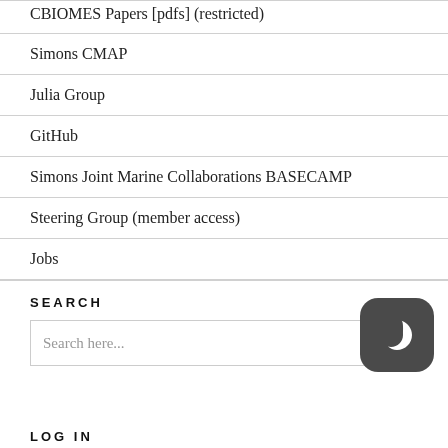CBIOMES Papers [pdfs] (restricted)
Simons CMAP
Julia Group
GitHub
Simons Joint Marine Collaborations BASECAMP
Steering Group (member access)
Jobs
SEARCH
Search here...
LOG IN